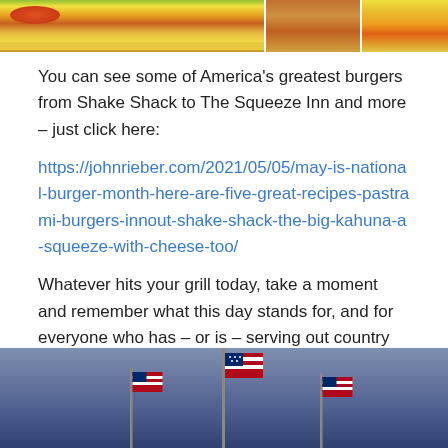[Figure (photo): Three burger photos in a horizontal strip at the top of the page]
You can see some of America's greatest burgers from Shake Shack to The Squeeze Inn and more – just click here:
https://johnrieber.com/2021/05/05/may-is-national-burger-month-here-are-five-great-recipes-pastrami-burgers-innout-shake-shack-the-big-kahuna-a-squeeze-with-cheese-too/
Whatever hits your grill today, take a moment and remember what this day stands for, and for everyone who has – or is – serving out country today – thank you!
[Figure (photo): American flags photographed against a blue-grey sky background]